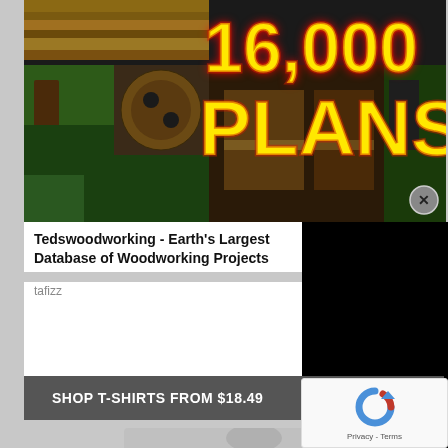[Figure (photo): Woodworking advertisement banner showing collage of woodworking projects with large yellow text '16,000 PLANS' on dark red/flame background, with close button (X)]
Tedswoodworking - Earth's Largest Database of Woodworking Projects
tafizz
[Figure (screenshot): Black video player panel on right side]
SHOP T-SHIRTS FROM $18.49
[Figure (photo): Gray t-shirt product image, partially visible, with small green logo/dot on chest]
[Figure (logo): reCAPTCHA widget with blue/gray C logo and Privacy - Terms text]